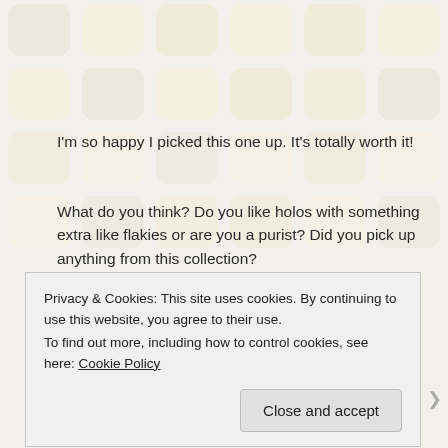I'm so happy I picked this one up. It's totally worth it!
What do you think? Do you like holos with something extra like flakies or are you a purist? Did you pick up anything from this collection?
And now I leave you with your daily David Tennant:
[Figure (photo): Partial photo of a person with dark hair against a grey background, with blue elements visible on the left side.]
Privacy & Cookies: This site uses cookies. By continuing to use this website, you agree to their use.
To find out more, including how to control cookies, see here: Cookie Policy